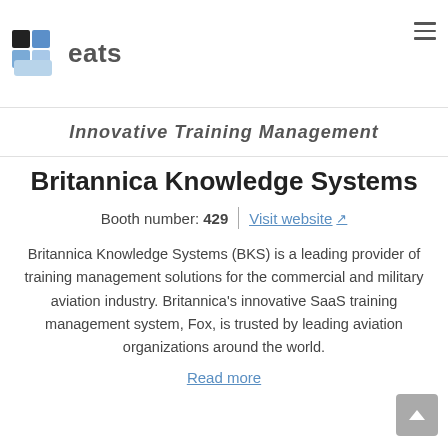eats | Innovative Training Management
Britannica Knowledge Systems
Booth number: 429 | Visit website
Britannica Knowledge Systems (BKS) is a leading provider of training management solutions for the commercial and military aviation industry. Britannica’s innovative SaaS training management system, Fox, is trusted by leading aviation organizations around the world.
Read more